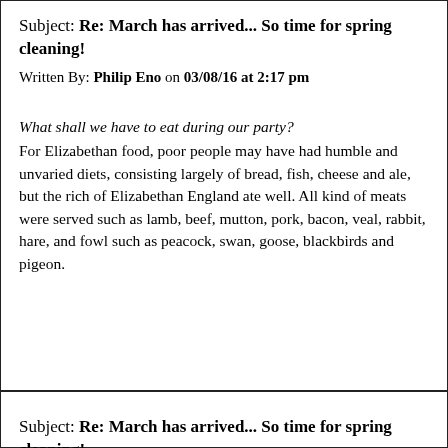Subject: Re: March has arrived... So time for spring cleaning!
Written By: Philip Eno on 03/08/16 at 2:17 pm
What shall we have to eat during our party? For Elizabethan food, poor people may have had humble and unvaried diets, consisting largely of bread, fish, cheese and ale, but the rich of Elizabethan England ate well. All kind of meats were served such as lamb, beef, mutton, pork, bacon, veal, rabbit, hare, and fowl such as peacock, swan, goose, blackbirds and pigeon.
Subject: Re: March has arrived... So time for spring cleaning!
Written By: Howard on 03/08/16 at 3:30 pm